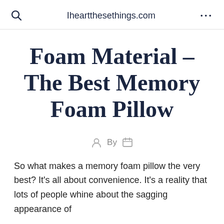Iheartthesethings.com
Foam Material – The Best Memory Foam Pillow
By
So what makes a memory foam pillow the very best? It's all about convenience. It's a reality that lots of people whine about the sagging appearance of